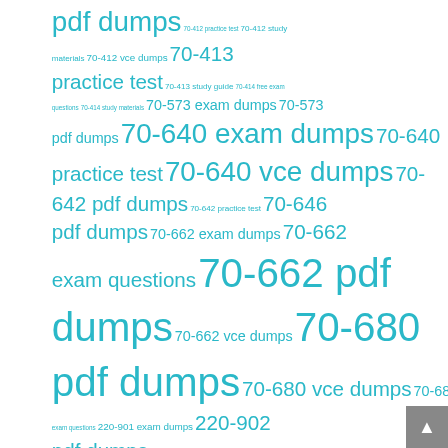pdf dumps 70-412 practice test 70-412 study materials 70-412 vce dumps 70-413 practice test 70-413 study guide 70-414 free exam questions 70-414 study materials 70-573 exam dumps 70-573 pdf dumps 70-640 exam dumps 70-640 practice test 70-640 vce dumps 70-642 pdf dumps 70-642 practice test 70-646 pdf dumps 70-662 exam dumps 70-662 exam questions 70-662 pdf dumps 70-662 vce dumps 70-680 pdf dumps 70-680 vce dumps 70-687 exam questions 220-901 exam dumps 220-902 pdf dumps 300-101 practice test 350-080 vce dumps 400-101 practice test 400-201 exam dumps PassLeader 400-101 brain dumps PassLeader 400-101 exam questions